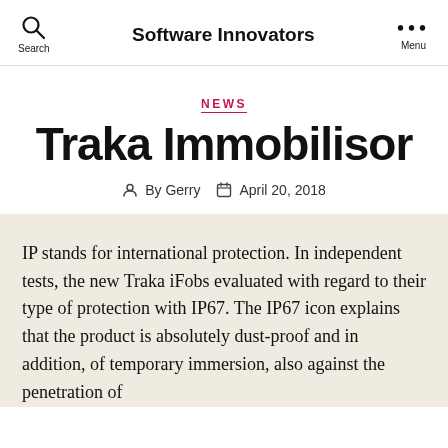Software Innovators
NEWS
Traka Immobilisor
By Gerry   April 20, 2018
IP stands for international protection. In independent tests, the new Traka iFobs evaluated with regard to their type of protection with IP67. The IP67 icon explains that the product is absolutely dust-proof and in addition, of temporary immersion, also against the penetration of